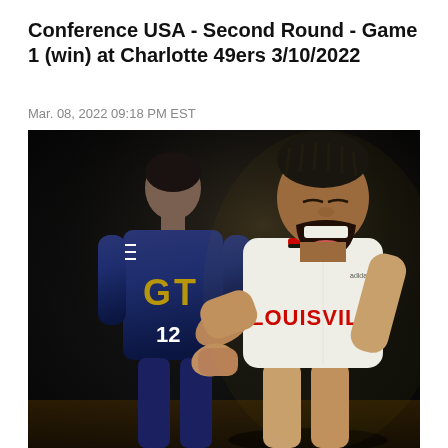Conference USA - Second Round - Game 1 (win) at Charlotte 49ers 3/10/2022
Mar. 08, 2022 09:18 PM EST
[Figure (photo): Basketball action photo: A Louisville Cardinals player in white jersey celebrates with mouth wide open in a roar, while a Georgia Tech player wearing navy jersey number 12 stands in the background on a dark court.]